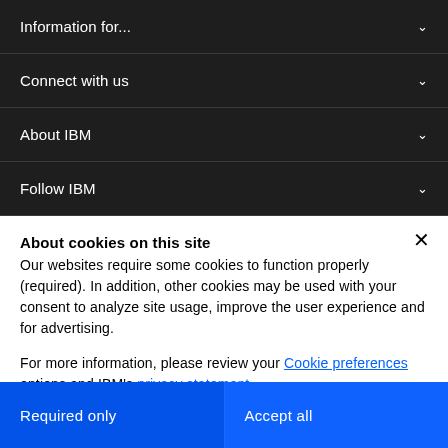Information for...
Connect with us
About IBM
Follow IBM
About cookies on this site
Our websites require some cookies to function properly (required). In addition, other cookies may be used with your consent to analyze site usage, improve the user experience and for advertising.
For more information, please review your Cookie preferences options and IBM’s privacy statement.
Required only
Accept all